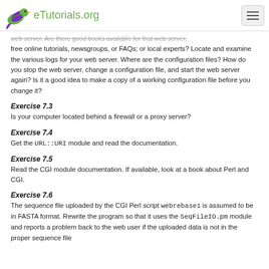eTutorials.org
web server. Are there good books available for that web server, free online tutorials, newsgroups, or FAQs; or local experts? Locate and examine the various logs for your web server. Where are the configuration files? How do you stop the web server, change a configuration file, and start the web server again? Is it a good idea to make a copy of a working configuration file before you change it?
Exercise 7.3
Is your computer located behind a firewall or a proxy server?
Exercise 7.4
Get the URL::URI module and read the documentation.
Exercise 7.5
Read the CGI module documentation. If available, look at a book about Perl and CGI.
Exercise 7.6
The sequence file uploaded by the CGI Perl script webrebase1 is assumed to be in FASTA format. Rewrite the program so that it uses the SeqFileIO.pm module and reports a problem back to the web user if the uploaded data is not in the proper sequence file format.